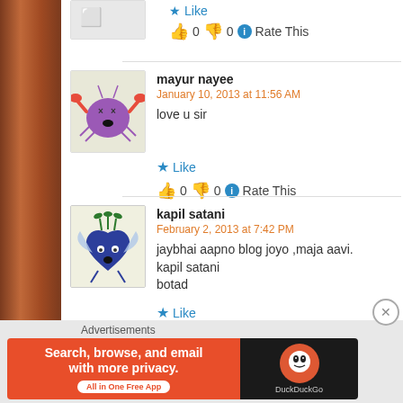[Figure (screenshot): Partial comment avatar at top]
Like
👍 0 👎 0 ℹ Rate This
[Figure (illustration): Purple crab cartoon avatar for mayur nayee]
mayur nayee
January 10, 2013 at 11:56 AM
love u sir
Like
👍 0 👎 0 ℹ Rate This
[Figure (illustration): Blue heart vegetable cartoon avatar for kapil satani]
kapil satani
February 2, 2013 at 7:42 PM
jaybhai aapno blog joyo ,maja aavi.
kapil satani
botad
Like
Advertisements
[Figure (screenshot): DuckDuckGo advertisement banner: Search, browse, and email with more privacy. All in One Free App]